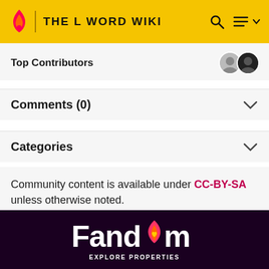THE L WORD WIKI
Top Contributors
Comments (0)
Categories
Community content is available under CC-BY-SA unless otherwise noted.
[Figure (logo): Fandom logo with flame icon in dark purple footer]
EXPLORE PROPERTIES